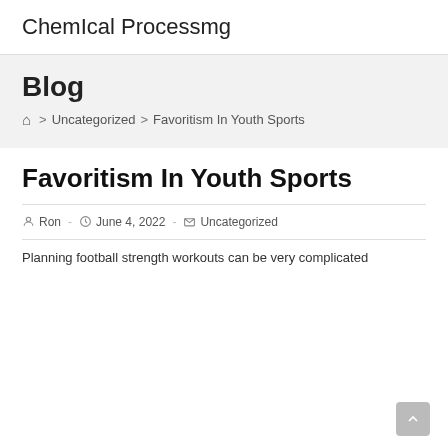ChemIcal Processmg
Blog
Home > Uncategorized > Favoritism In Youth Sports
Favoritism In Youth Sports
Post author: Ron - Post date: June 4, 2022 - Post category: Uncategorized
Planning football strength workouts can be very complicated